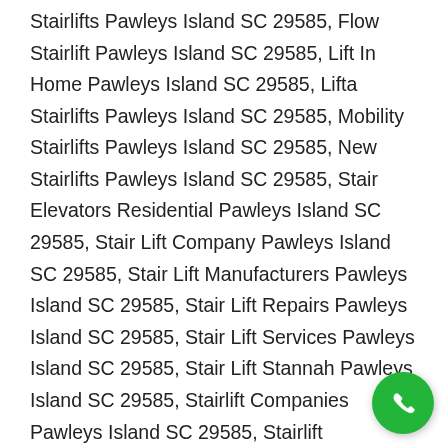Stairlifts Pawleys Island SC 29585, Flow Stairlift Pawleys Island SC 29585, Lift In Home Pawleys Island SC 29585, Lifta Stairlifts Pawleys Island SC 29585, Mobility Stairlifts Pawleys Island SC 29585, New Stairlifts Pawleys Island SC 29585, Stair Elevators Residential Pawleys Island SC 29585, Stair Lift Company Pawleys Island SC 29585, Stair Lift Manufacturers Pawleys Island SC 29585, Stair Lift Repairs Pawleys Island SC 29585, Stair Lift Services Pawleys Island SC 29585, Stair Lift Stannah Pawleys Island SC 29585, Stairlift Companies Pawleys Island SC 29585, Stairlift Installation Pawleys Island SC 29585, Stairlift Maintenance Pawleys Island 29585, Stairlift Manufacturers Pawleys Island SC
[Figure (other): Green circular phone call button in the bottom-right corner]